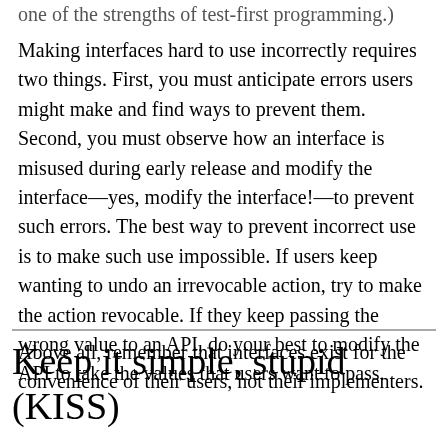one of the strengths of test-first programming.)
Making interfaces hard to use incorrectly requires two things. First, you must anticipate errors users might make and find ways to prevent them. Second, you must observe how an interface is misused during early release and modify the interface—yes, modify the interface!—to prevent such errors. The best way to prevent incorrect use is to make such use impossible. If users keep wanting to undo an irrevocable action, try to make the action revocable. If they keep passing the wrong value to an API, do your best to modify the API to take the values that users want to pass.
Above all, remember that interfaces exist for the convenience of their users, not their implementers.
Keep it simple, stupid (KISS)